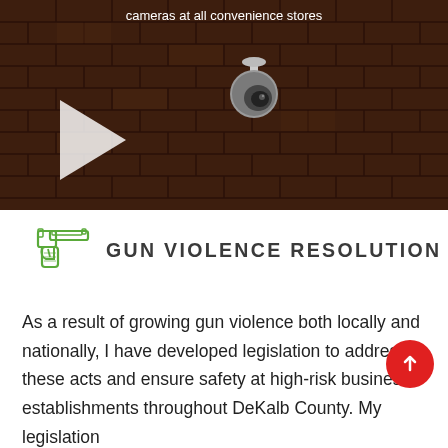[Figure (screenshot): Video thumbnail showing a security/surveillance camera mounted on a brick wall, with a play button overlay. Caption at top reads: 'cameras at all convenience stores']
GUN VIOLENCE RESOLUTION
As a result of growing gun violence both locally and nationally, I have developed legislation to address these acts and ensure safety at high-risk business establishments throughout DeKalb County. My legislation